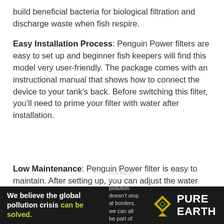build beneficial bacteria for biological filtration and discharge waste when fish respire.
Easy Installation Process: Penguin Power filters are easy to set up and beginner fish keepers will find this model very user-friendly. The package comes with an instructional manual that shows how to connect the device to your tank's back. Before switching this filter, you'll need to prime your filter with water after installation.
Low Maintenance: Penguin Power filter is easy to maintain. After setting up, you can adjust the water flow rate with a mid-level strainer. After running this device for one month,
[Figure (infographic): Pure Earth advertisement banner: black background with text 'We believe the global pollution crisis can be solved.' in white and green, tagline about pollution not stopping at borders, JOIN US. call to action, and Pure Earth logo with diamond/leaf icon.]